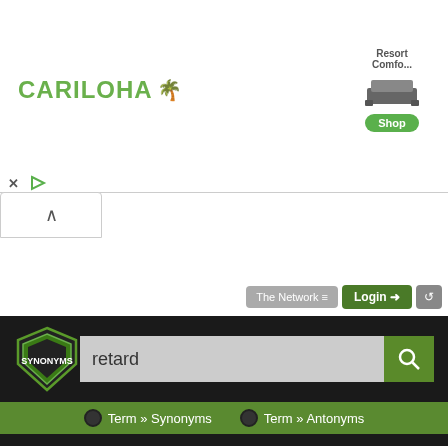[Figure (screenshot): Advertisement banner with Cariloha brand logo on the left and a bed/shop advertisement in the center]
[Figure (screenshot): Synonyms.com website header with search bar containing 'retard', logo shield, and navigation tabs for Term Synonyms and Term Antonyms]
What is another word for retard?
Synonyms for retard
rɪˈtɑrd for 1-3, 5; ˈrɪtɑrd for 4   re·tard
This thesaurus page is about all possible synonyms,